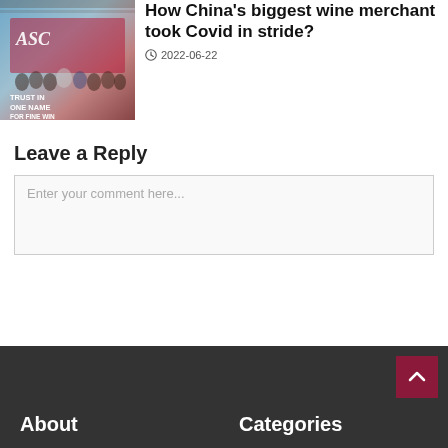[Figure (photo): Group photo of people at an ASC wine event with text TRUST IN ONE NAME FOR FINE WINE on a banner]
How China's biggest wine merchant took Covid in stride?
2022-06-22
Leave a Reply
Enter your comment here...
About    Categories